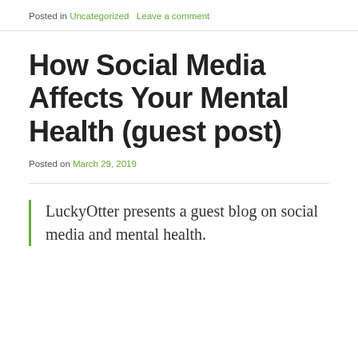Posted in Uncategorized   Leave a comment
How Social Media Affects Your Mental Health (guest post)
Posted on March 29, 2019
LuckyOtter presents a guest blog on social media and mental health.